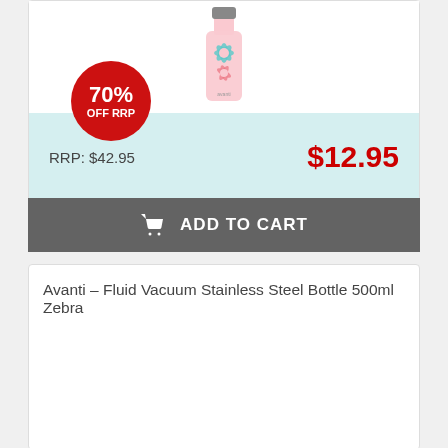[Figure (photo): Product image of a floral-patterned pink/teal bottle or cup, partially visible at top of card]
70% OFF RRP
RRP: $42.95
$12.95
ADD TO CART
Avanti – Fluid Vacuum Stainless Steel Bottle 500ml Zebra